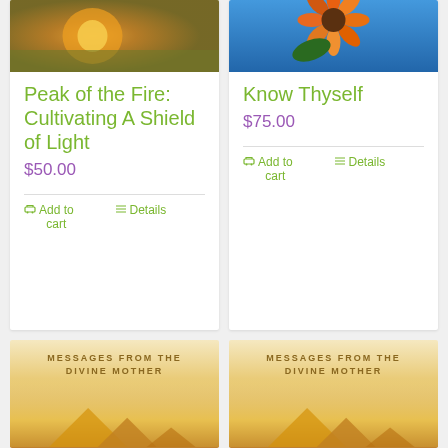[Figure (photo): Top-cropped photo of a fire/wildflower field scene with orange glow]
Peak of the Fire: Cultivating A Shield of Light
$50.00
Add to cart   Details
[Figure (photo): Top-cropped photo of a sunflower against blue sky]
Know Thyself
$75.00
Add to cart   Details
[Figure (photo): Book cover: Messages From The Divine Mother]
[Figure (photo): Book cover: Messages From The Divine Mother]